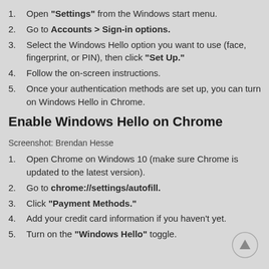1. Open "Settings" from the Windows start menu.
2. Go to Accounts > Sign-in options.
3. Select the Windows Hello option you want to use (face, fingerprint, or PIN), then click "Set Up."
4. Follow the on-screen instructions.
5. Once your authentication methods are set up, you can turn on Windows Hello in Chrome.
Enable Windows Hello on Chrome
Screenshot: Brendan Hesse
1. Open Chrome on Windows 10 (make sure Chrome is updated to the latest version).
2. Go to chrome://settings/autofill.
3. Click "Payment Methods."
4. Add your credit card information if you haven't yet.
5. Turn on the "Windows Hello" toggle.